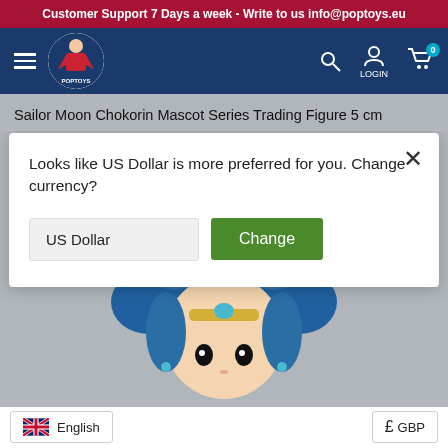Customer Support 7 Days a week - Write to us info@poptoys.eu
[Figure (logo): POPTOYS logo - circular logo with superhero character on blue navy navigation bar with hamburger menu, search icon, login icon, and cart icon showing 0]
Sailor Moon Chokorin Mascot Series Trading Figure 5 cm
Looks like US Dollar is more preferred for you. Change currency?
US Dollar
Change
[Figure (photo): Chibi-style Sailor Moon figure with blue hair viewed from above/front, wearing sailor uniform accessories, on gray background]
English  £ GBP